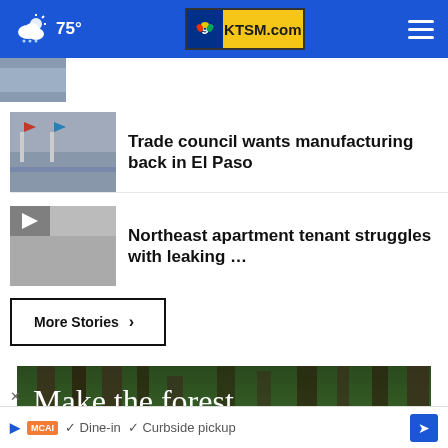75° KTSM.com
[Figure (screenshot): Partially visible thumbnail image at top of news feed]
Trade council wants manufacturing back in El Paso
Northeast apartment tenant struggles with leaking …
More Stories ›
[Figure (photo): Advertisement: Make the forest part of your story — forest background with tall trees]
Dine-in  ✓  Curbside pickup